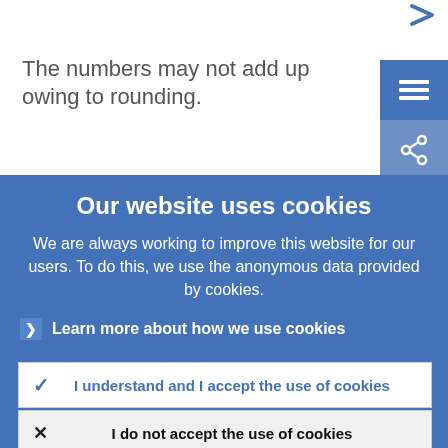The numbers may not add up owing to rounding.
Our website uses cookies
We are always working to improve this website for our users. To do this, we use the anonymous data provided by cookies.
Learn more about how we use cookies
I understand and I accept the use of cookies
I do not accept the use of cookies